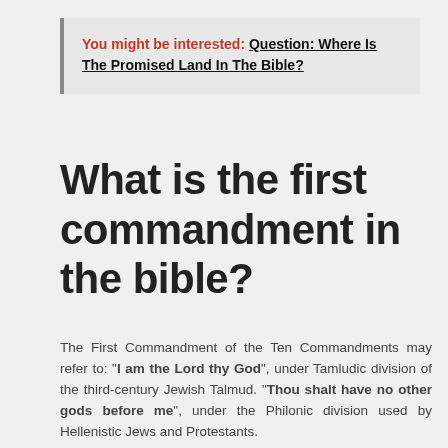You might be interested: Question: Where Is The Promised Land In The Bible?
What is the first commandment in the bible?
The First Commandment of the Ten Commandments may refer to: "I am the Lord thy God", under Tamludic division of the third-century Jewish Talmud. "Thou shalt have no other gods before me", under the Philonic division used by Hellenistic Jews and Protestants.